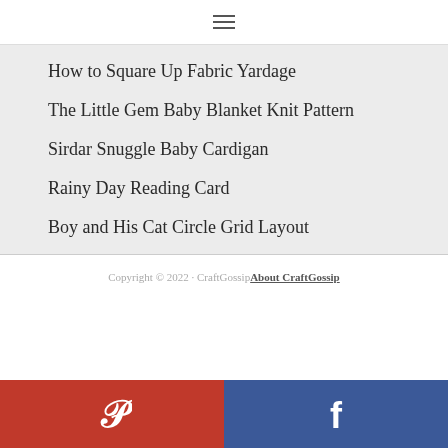☰
How to Square Up Fabric Yardage
The Little Gem Baby Blanket Knit Pattern
Sirdar Snuggle Baby Cardigan
Rainy Day Reading Card
Boy and His Cat Circle Grid Layout
Copyright © 2022 · CraftGossip  About CraftGossip
[Figure (infographic): Social sharing bar with Pinterest (red background, P icon) and Facebook (blue background, f icon) buttons side by side]